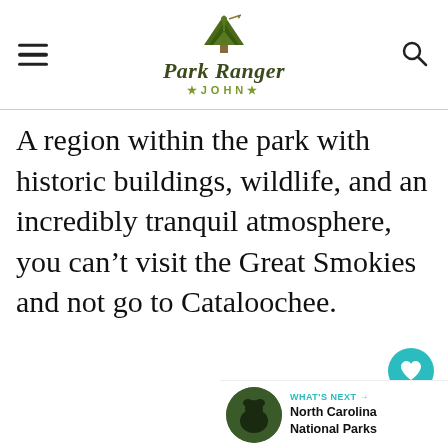Park Ranger John
A region within the park with historic buildings, wildlife, and an incredibly tranquil atmosphere, you can’t visit the Great Smokies and not go to Cataloochee.
[Figure (infographic): Heart/like button (teal circle with heart icon), count of 8, and share button]
[Figure (infographic): What's Next section with circular thumbnail photo and text: North Carolina National Parks]